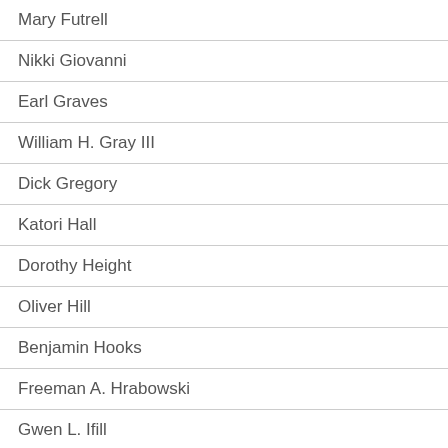Mary Futrell
Nikki Giovanni
Earl Graves
William H. Gray III
Dick Gregory
Katori Hall
Dorothy Height
Oliver Hill
Benjamin Hooks
Freeman A. Hrabowski
Gwen L. Ifill
Benjamin Jealous